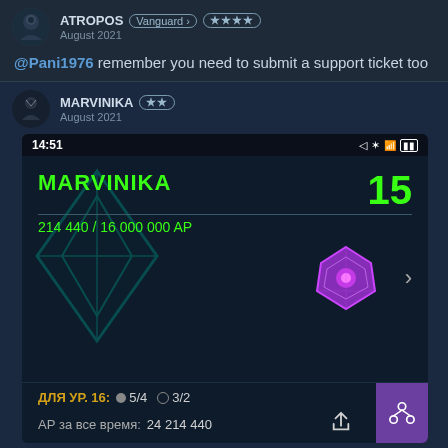[Figure (screenshot): Forum post from user ATROPOS with Vanguard badge and 4-star rating, dated August 2021]
@Pani1976 remember you need to submit a support ticket too
[Figure (screenshot): Forum post from user MARVINIKA with 2-star rating, dated August 2021, containing a screenshot of the Ingress mobile game showing agent MARVINIKA at level 15 with 214 440 / 16 000 000 AP, requirements for level 16: 5/4 and 3/2, AP за все время: 24 214 440]